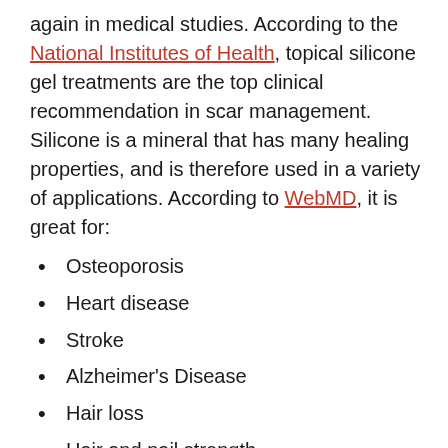again in medical studies. According to the National Institutes of Health, topical silicone gel treatments are the top clinical recommendation in scar management. Silicone is a mineral that has many healing properties, and is therefore used in a variety of applications. According to WebMD, it is great for:
Osteoporosis
Heart disease
Stroke
Alzheimer's Disease
Hair loss
Hair and nail strength
Digestive system disorders
Sprains and strains